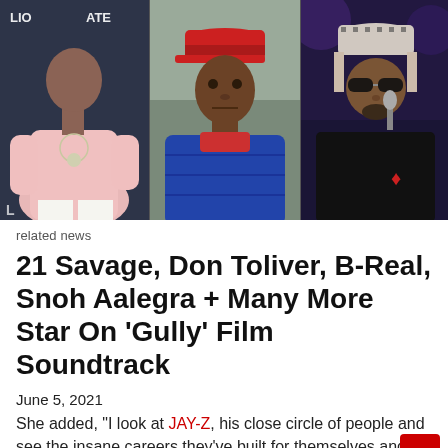[Figure (photo): Three panel photo strip showing three musicians/rappers side by side: left panel shows a man in a pink hoodie with a chain necklace in front of a Lionsgate backdrop, middle panel shows a man in a red cap and blue puffer jacket, right panel shows a man with sunglasses and a patterned cap holding a microphone on stage]
related news
21 Savage, Don Toliver, B-Real, Snoh Aalegra + Many More Star On 'Gully' Film Soundtrack
June 5, 2021
She added, "I look at JAY-Z, his close circle of people and see the insane careers they've built for themselves and the help they've given so many